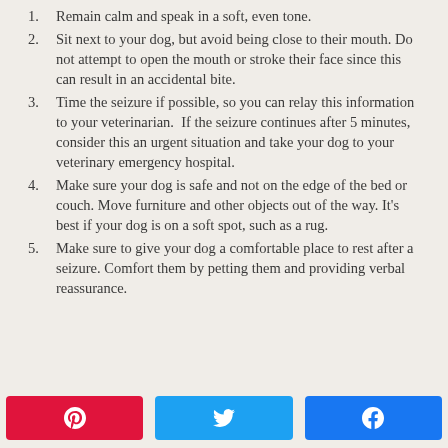1. Remain calm and speak in a soft, even tone.
2. Sit next to your dog, but avoid being close to their mouth. Do not attempt to open the mouth or stroke their face since this can result in an accidental bite.
3. Time the seizure if possible, so you can relay this information to your veterinarian. If the seizure continues after 5 minutes, consider this an urgent situation and take your dog to your veterinary emergency hospital.
4. Make sure your dog is safe and not on the edge of the bed or couch. Move furniture and other objects out of the way. It's best if your dog is on a soft spot, such as a rug.
5. Make sure to give your dog a comfortable place to rest after a seizure. Comfort them by petting them and providing verbal reassurance.